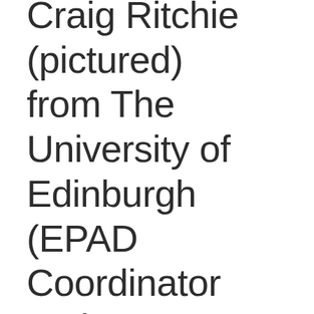Craig Ritchie (pictured) from The University of Edinburgh (EPAD Coordinator and AMYPAD